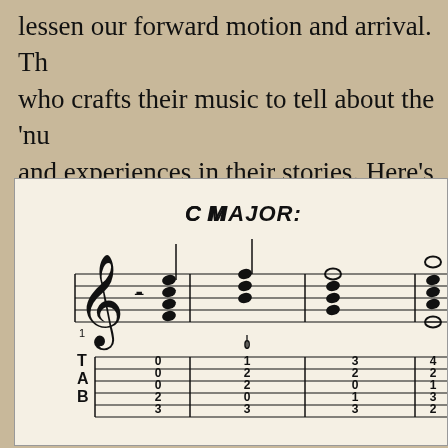lessen our forward motion and arrival. Th... who crafts their music to tell about the 'nu... and experiences in their stories. Here's 'th... the truth', in 'C', first major then minor, ac... color tones. Example 2a.
[Figure (illustration): Music notation example labeled 'C MAJOR:' showing treble clef staff with chord notation and TAB staff below with fret numbers. Multiple chords shown as whole notes and half notes stacked vertically.]